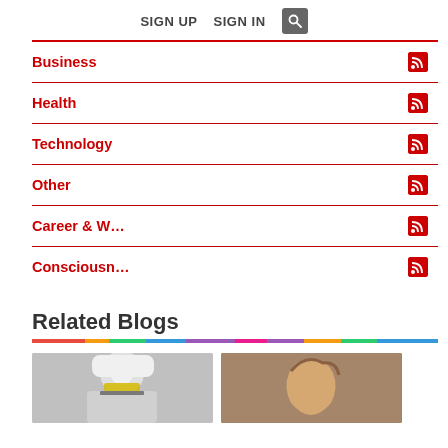SIGN UP   SIGN IN   [search]
Business
Health
Technology
Other
Career & W…
Consciousn…
Related Blogs
[Figure (photo): Two blog thumbnail images: left shows a woman with white hair and yellow eye makeup in black and white; right shows a woman with long brown hair smiling in a warm-toned setting.]